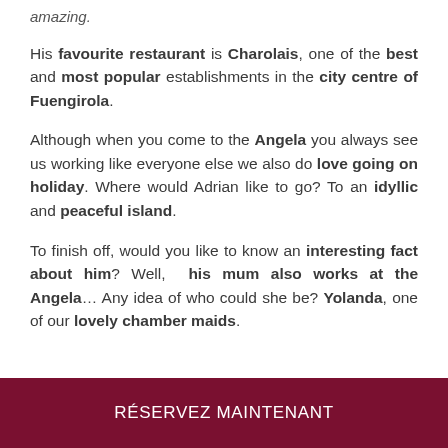amazing.
His favourite restaurant is Charolais, one of the best and most popular establishments in the city centre of Fuengirola.
Although when you come to the Angela you always see us working like everyone else we also do love going on holiday. Where would Adrian like to go? To an idyllic and peaceful island.
To finish off, would you like to know an interesting fact about him? Well, his mum also works at the Angela… Any idea of who could she be? Yolanda, one of our lovely chamber maids.
RÉSERVEZ MAINTENANT